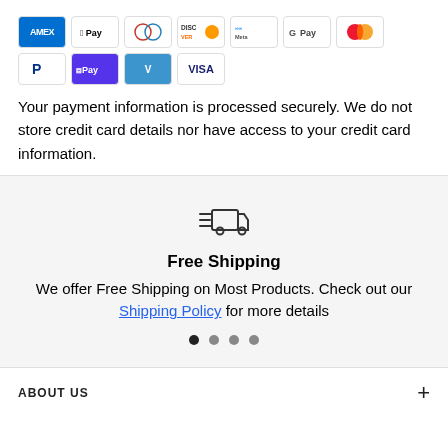[Figure (infographic): Payment method icons: AMEX, Apple Pay, Diners Club, Discover, Meta Pay, Google Pay, Mastercard, PayPal, Shop Pay, Venmo, Visa]
Your payment information is processed securely. We do not store credit card details nor have access to your credit card information.
[Figure (illustration): Delivery truck icon with speed lines indicating fast or free shipping]
Free Shipping
We offer Free Shipping on Most Products. Check out our Shipping Policy for more details
ABOUT US